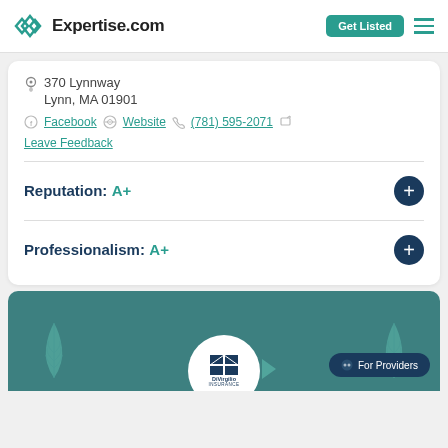[Figure (logo): Expertise.com logo with teal diamond icon and wordmark]
370 Lynnway
Lynn, MA 01901
Facebook  Website  (781) 595-2071
Leave Feedback
Reputation: A+
Professionalism: A+
[Figure (logo): DiVirgilio Insurance logo on teal background card with leaf decorations and For Providers button]